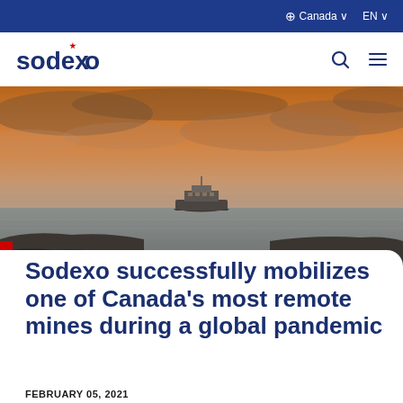Canada ∨   EN ∨
[Figure (logo): Sodexo logo in blue with red star accent]
[Figure (photo): A ferry boat on calm water at sunset with dramatic orange and cloudy sky, rocky shoreline in foreground]
Sodexo successfully mobilizes one of Canada's most remote mines during a global pandemic
FEBRUARY 05, 2021